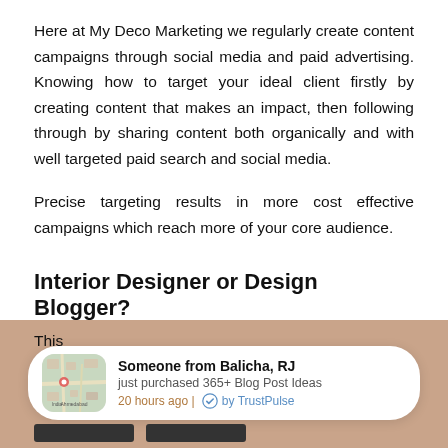Here at My Deco Marketing we regularly create content campaigns through social media and paid advertising. Knowing how to target your ideal client firstly by creating content that makes an impact, then following through by sharing content both organically and with well targeted paid search and social media.

Precise targeting results in more cost effective campaigns which reach more of your core audience.
Interior Designer or Design Blogger?
Too often I see designers who fall into the trap of
[Figure (screenshot): A TrustPulse notification popup card on a tan/beige background bar. The card shows a map thumbnail on the left, and text: 'Someone from Balicha, RJ', 'just purchased 365+ Blog Post Ideas', '20 hours ago | by TrustPulse'. Two dark button placeholders are visible at the bottom left of the bar. Partially visible text above reads 'This w... We'll ass... sh.']